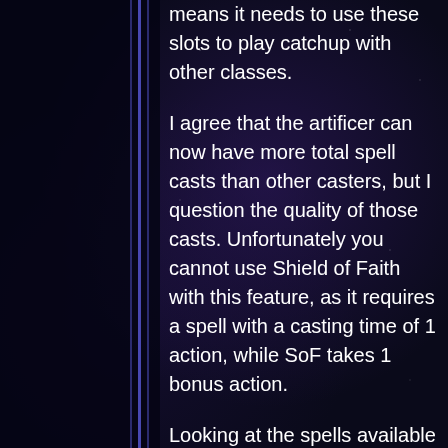means it needs to use these slots to play catchup with other classes.
I agree that the artificer can now have more total spell casts than other casters, but I question the quality of those casts. Unfortunately you cannot use Shield of Faith with this feature, as it requires a spell with a casting time of 1 action, while SoF takes 1 bonus action.
Looking at the spells available for this feature I'd say that Faerie Fire, Enlarge/Reduce, Heat Metal, or Pyrotechnics would be the best options. If this feature some way what I and 7 re di